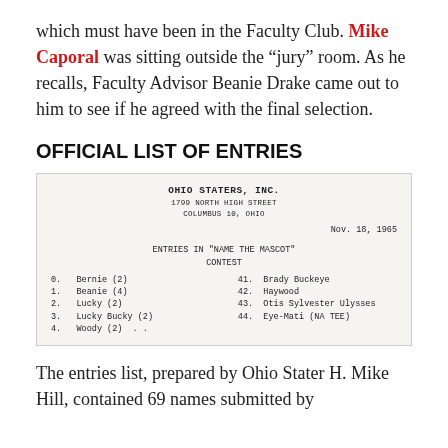which must have been in the Faculty Club. Mike Caporal was sitting outside the “jury” room. As he recalls, Faculty Advisor Beanie Drake came out to him to see if he agreed with the final selection.
OFFICIAL LIST OF ENTRIES
[Figure (other): Scanned document from Ohio Staters, Inc., 1799 North High Street, Columbus 10, Ohio, dated Nov. 18, 1965. Titled 'ENTRIES IN "NAME THE MASCOT" CONTEST'. Lists entries: 0. Bernie (2), 1. Beanie (4), 2. Lucky (2), 3. Lucky Bucky (2), 4. Woody (2), 41. Brady Buckeye, 42. Haywood, 43. Otis Sylvester Ulysses, 44. Eye-Mati (NA TEE)]
The entries list, prepared by Ohio Stater H. Mike Hill, contained 69 names submitted by